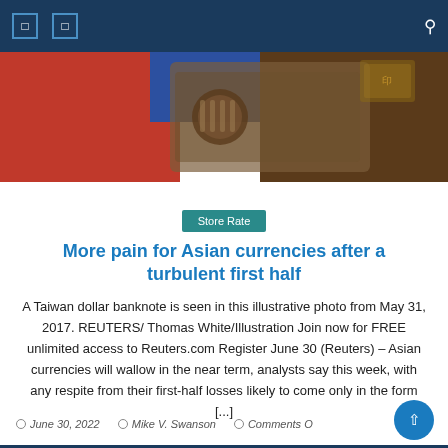Navigation bar with icons
[Figure (photo): Close-up photo of a Taiwan dollar banknote with red and blue background]
Store Rate
More pain for Asian currencies after a turbulent first half
A Taiwan dollar banknote is seen in this illustrative photo from May 31, 2017. REUTERS/ Thomas White/Illustration Join now for FREE unlimited access to Reuters.com Register June 30 (Reuters) – Asian currencies will wallow in the near term, analysts say this week, with any respite from their first-half losses likely to come only in the form [...]
June 30, 2022   Mike V. Swanson   Comments O...